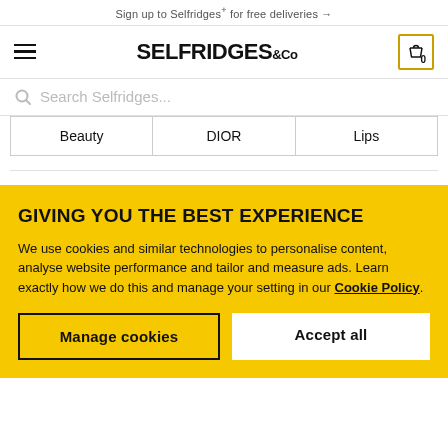Sign up to Selfridges+ for free deliveries →
[Figure (logo): Selfridges & Co logo with hamburger menu and cart icon]
Search Selfridges...
| Beauty | DIOR | Lips |
| --- | --- | --- |
GIVING YOU THE BEST EXPERIENCE
We use cookies and similar technologies to personalise content, analyse website performance and tailor and measure ads. Learn exactly how we do this and manage your setting in our Cookie Policy.
Manage cookies
Accept all